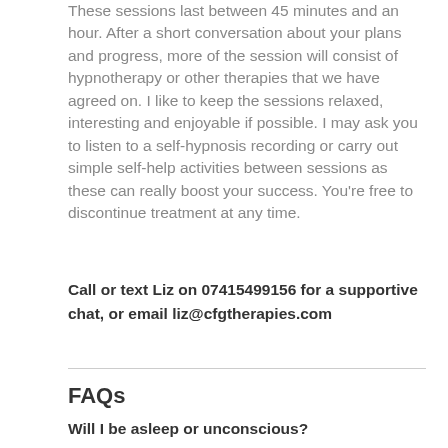These sessions last between 45 minutes and an hour. After a short conversation about your plans and progress, more of the session will consist of hypnotherapy or other therapies that we have agreed on. I like to keep the sessions relaxed, interesting and enjoyable if possible. I may ask you to listen to a self-hypnosis recording or carry out simple self-help activities between sessions as these can really boost your success. You're free to discontinue treatment at any time.
Call or text Liz on 07415499156 for a supportive chat, or email liz@cfgtherapies.com
FAQs
Will I be asleep or unconscious?